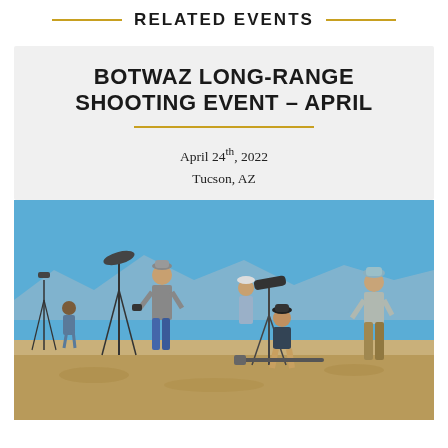RELATED EVENTS
BOTWAZ LONG-RANGE SHOOTING EVENT – APRIL
April 24th, 2022
Tucson, AZ
[Figure (photo): Outdoor long-range shooting event scene with several people standing and sitting with spotting scopes on tripods in a desert landscape under a clear blue sky.]